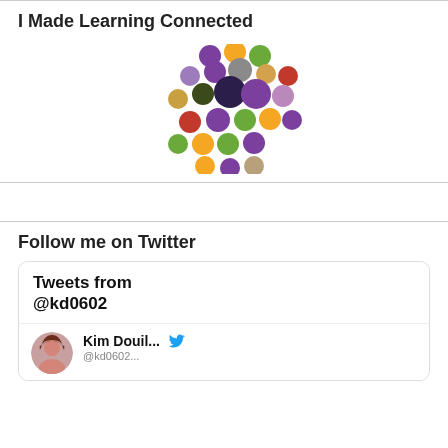I Made Learning Connected
[Figure (logo): Making Learning Connected logo — colorful circles arranged in a cluster with text 'makinglearningconnected' below]
Follow me on Twitter
[Figure (screenshot): Twitter widget showing 'Tweets from @kd0602' header and a tweet row with Kim Douil... avatar and Twitter bird icon]